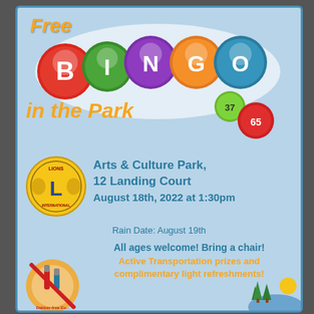Free BINGO in the Park
Arts & Culture Park, 12 Landing Court
August 18th, 2022 at 1:30pm
Rain Date: August 19th
All ages welcome! Bring a chair! Active Transportation prizes and complimentary light refreshments!
[Figure (illustration): Lions International club logo]
[Figure (illustration): Dabber-free event circular icon with crossed-out bingo dabber]
[Figure (illustration): Trees and mountain decorative icon at bottom right]
[Figure (illustration): Colorful BINGO balls spelling B-I-N-G-O with smaller balls numbered 37 and 65]